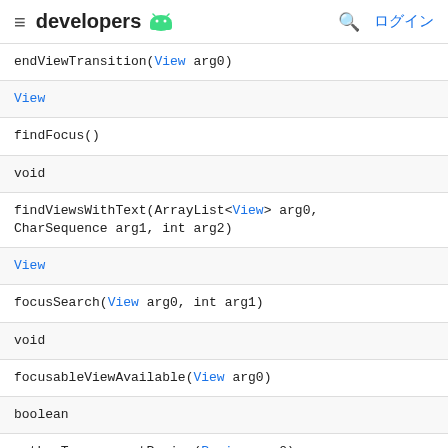≡ developers 🤖 🔍 ログイン
| Method / Return type |
| --- |
| endViewTransition(View arg0) |
| View |
| findFocus() |
| void |
| findViewsWithText(ArrayList<View> arg0, CharSequence arg1, int arg2) |
| View |
| focusSearch(View arg0, int arg1) |
| void |
| focusableViewAvailable(View arg0) |
| boolean |
| gatherTransparentRegion(Region arg0) |
| ViewGroup.LayoutParams |